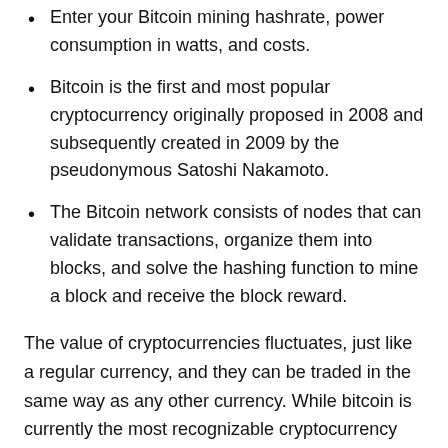Enter your Bitcoin mining hashrate, power consumption in watts, and costs.
Bitcoin is the first and most popular cryptocurrency originally proposed in 2008 and subsequently created in 2009 by the pseudonymous Satoshi Nakamoto.
The Bitcoin network consists of nodes that can validate transactions, organize them into blocks, and solve the hashing function to mine a block and receive the block reward.
The value of cryptocurrencies fluctuates, just like a regular currency, and they can be traded in the same way as any other currency. While bitcoin is currently the most recognizable cryptocurrency with the largest market cap by far, there are many other notable cryptocurrencies such as Ethereum , Litecoin , and Ripple . Some experts say that there is a slight chance that cryptocurrencies become the currency